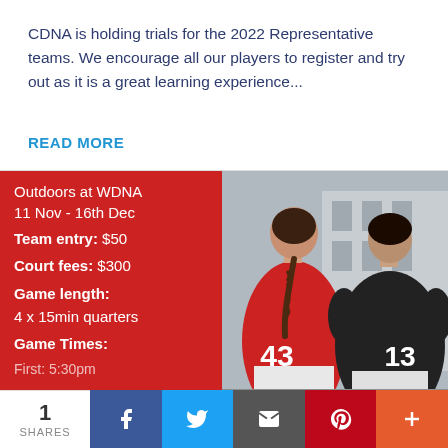CDNA is holding trials for the 2022 Representative teams. We encourage all our players to register and try out as it is a great learning experience...
READ MORE
[Figure (infographic): Red banner with sports event info: Outdoors at WDNA 11 Nov - 16th Dec, Team entry: $50, Court fees: $300, Game length: 4 x 15min quarters, Game Times: First: 5:30pm. Right side shows photo of two netball players from behind, one in red jersey number 43, one in black jersey number 13.]
1 SHARES | Facebook | Twitter | Email | Pinterest | More